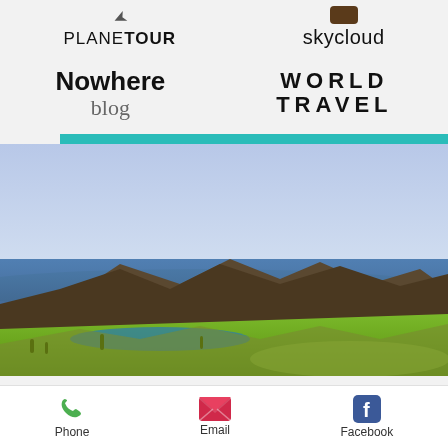[Figure (logo): PlaneTour app logo with arrow icon and text PLANETOUR]
[Figure (logo): Skycloud app logo with brown rectangle icon and text 'skycloud']
[Figure (logo): Nowhere blog logo with bold 'Nowhere' and italic 'blog']
[Figure (logo): World Travel logo with spaced bold letters 'WORLD TRAVEL']
[Figure (photo): Coastal golf course landscape photo with green fairway, rocky cliffs, ocean, and blue sky]
Phone
Email
Facebook